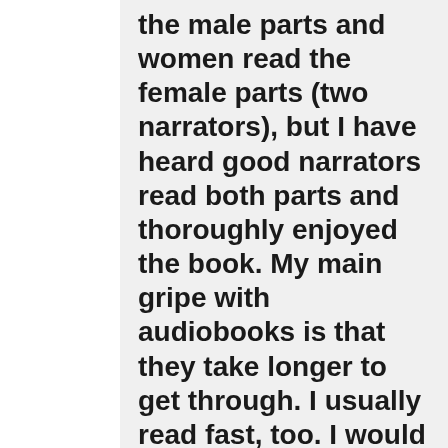the male parts and women read the female parts (two narrators), but I have heard good narrators read both parts and thoroughly enjoyed the book. My main gripe with audiobooks is that they take longer to get through. I usually read fast, too. I would neve speed up the narration. How weird is that. The sex scenes are more embarrassing for me hearing a guy read them, for some reason. They make me want to giggle